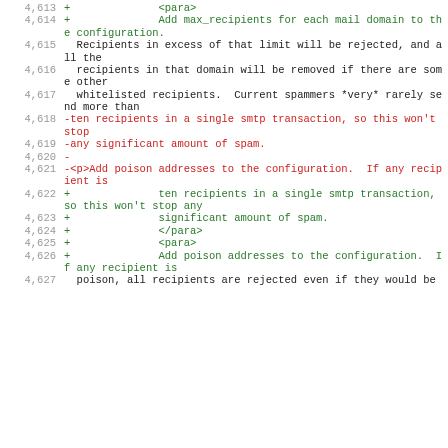Diff view of source code lines 4613-4627 showing added and removed lines in a patch/diff format for email configuration documentation.